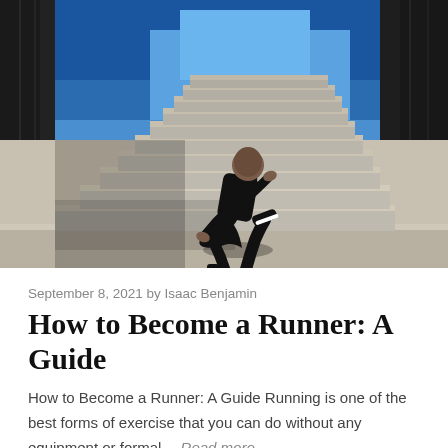[Figure (photo): A runner in black athletic clothing leaping up concrete stadium stairs against a bright blue sky, photographed from below at a dynamic angle. Urban architectural elements visible on sides.]
September 8, 2021 by Isaac Benjamin
How to Become a Runner: A Guide
How to Become a Runner: A Guide Running is one of the best forms of exercise that you can do without any equipment or formal… Read more